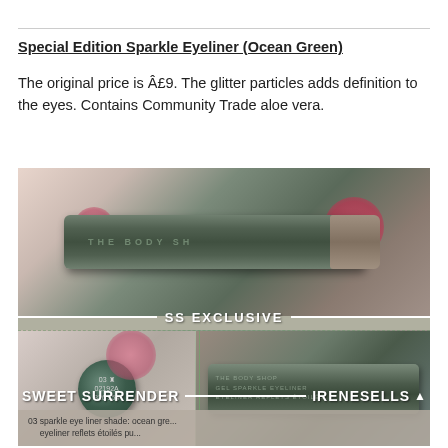Special Edition Sparkle Eyeliner (Ocean Green)
The original price is Â£9. The glitter particles adds definition to the eyes. Contains Community Trade aloe vera.
[Figure (photo): Composite photo showing The Body Shop Special Edition Sparkle Eyeliner in Ocean Green shade. Top image shows the full eyeliner tube with cap. Bottom left shows the end cap with shade code 03/02192A/826154. Bottom right shows the side of the tube. Overlaid text reads 'SS EXCLUSIVE' in the middle banner, 'SWEET SURRENDER' on the bottom left, and 'IRENESELLS' on the bottom right. Bottom label strip shows '03 sparkle eye liner shade: ocean gr... / eyeliner reflets étoilés pu...']